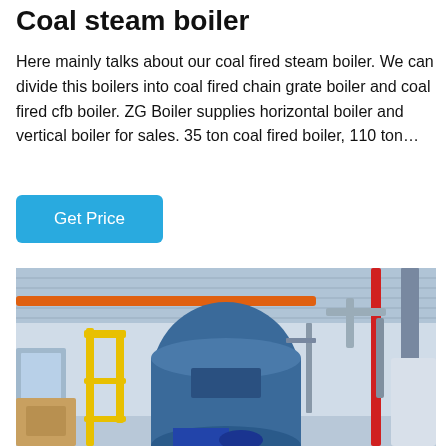Coal steam boiler
Here mainly talks about our coal fired steam boiler. We can divide this boilers into coal fired chain grate boiler and coal fired cfb boiler. ZG Boiler supplies horizontal boiler and vertical boiler for sales. 35 ton coal fired boiler, 110 ton…
Get Price
[Figure (photo): Industrial boiler room interior showing large blue cylindrical steam boilers with yellow scaffolding, orange and red overhead pipes, and various industrial piping and equipment]